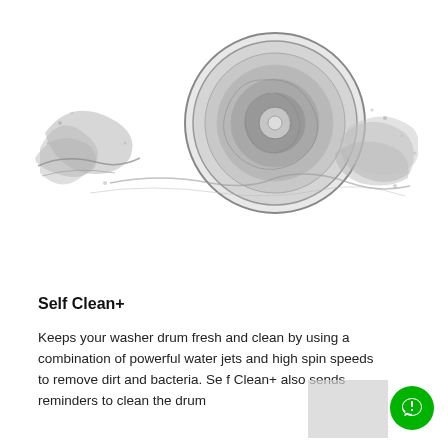[Figure (photo): Black and white photo of a washing machine drum viewed from above, surrounded by dynamic water splashes forming a wave-like pattern around the circular drum opening.]
Self Clean+
Keeps your washer drum fresh and clean by using a combination of powerful water jets and high spin speeds to remove dirt and bacteria. Self Clean+ also sends reminders to clean the drum